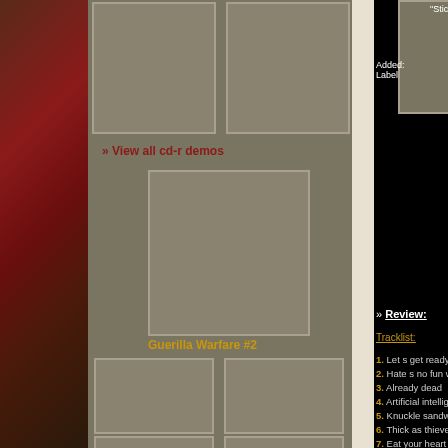[Figure (illustration): Left decorative strip with red and dark textured background]
[Figure (illustration): Two small thumbnail placeholder boxes at top center]
» View all cd-r demos
[Figure (illustration): Large single album cover placeholder box]
Guerilla Warfare #2
[Figure (illustration): Two rows of two thumbnail placeholder boxes]
» View all vinyls
[Figure (illustration): Bottom small thumbnail placeholder box]
"Stic
Added:
Label
» Review:
Tracklist:
1. Let s get ready to crum
2. Hate s no fun when yo
3. Already dead
4. Artificial intelligence
5. Knuckle sandwich
6. Thick as thieves
7. Eat your heart out
8. A true friends stabs in t
9. Thursday the 12th
10. Like sands through th
» Additional information
Hits :
Country : Italy
Website :